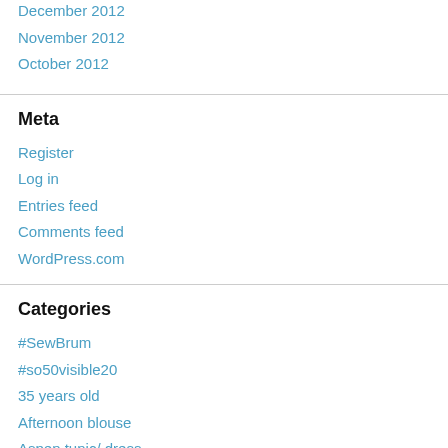December 2012
November 2012
October 2012
Meta
Register
Log in
Entries feed
Comments feed
WordPress.com
Categories
#SewBrum
#so50visible20
35 years old
Afternoon blouse
Aspen tunic/ dress